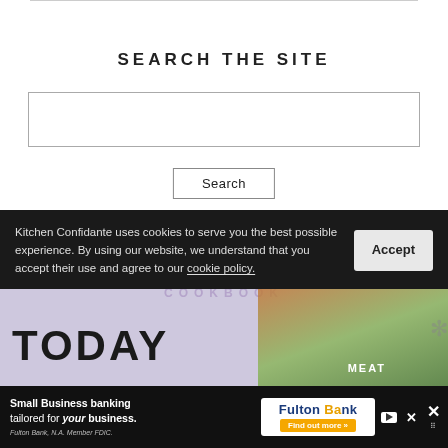SEARCH THE SITE
[Figure (screenshot): Search input text box (empty)]
[Figure (screenshot): Search button]
[Figure (photo): Cookbook banner showing 'Available TODAY' with food images and MEAT text, purple/lavender background]
Kitchen Confidante uses cookies to serve you the best possible experience. By using our website, we understand that you accept their use and agree to our cookie policy.
[Figure (screenshot): Accept button for cookie consent]
[Figure (screenshot): Advertisement for Small Business banking tailored for your business - Fulton Bank. Find out more.]